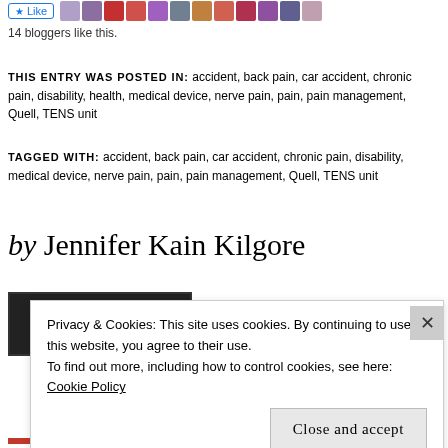14 bloggers like this.
THIS ENTRY WAS POSTED IN: accident, back pain, car accident, chronic pain, disability, health, medical device, nerve pain, pain, pain management, Quell, TENS unit
TAGGED WITH: accident, back pain, car accident, chronic pain, disability, medical device, nerve pain, pain, pain management, Quell, TENS unit
by Jennifer Kain Kilgore
Privacy & Cookies: This site uses cookies. By continuing to use this website, you agree to their use.
To find out more, including how to control cookies, see here: Cookie Policy
Close and accept